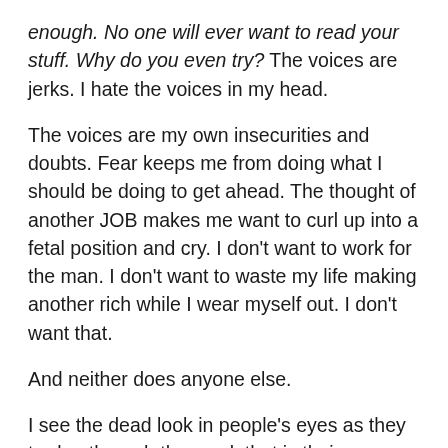enough. No one will ever want to read your stuff. Why do you even try? The voices are jerks. I hate the voices in my head.
The voices are my own insecurities and doubts. Fear keeps me from doing what I should be doing to get ahead. The thought of another JOB makes me want to curl up into a fetal position and cry. I don't want to work for the man. I don't want to waste my life making another rich while I wear myself out. I don't want that.
And neither does anyone else.
I see the dead look in people's eyes as they trudge through the muck that is their everyday existence, and I can see the my own blank stare reflected back to me. Clock in, work, clock out, and then try to salvage at least a